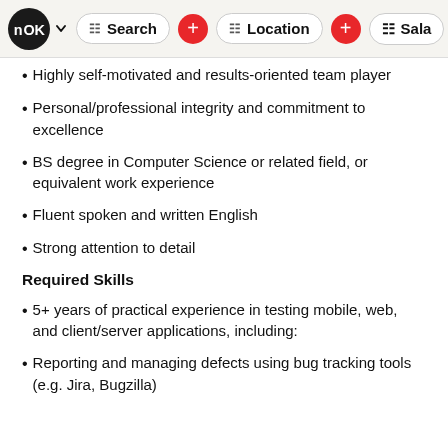nOK | Search + | Location + | Sala
Highly self-motivated and results-oriented team player
Personal/professional integrity and commitment to excellence
BS degree in Computer Science or related field, or equivalent work experience
Fluent spoken and written English
Strong attention to detail
Required Skills
5+ years of practical experience in testing mobile, web, and client/server applications, including:
Reporting and managing defects using bug tracking tools (e.g. Jira, Bugzilla)